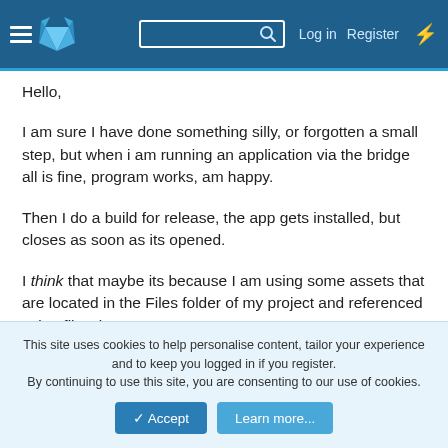GitLab navigation bar with hamburger menu, logo, search box, Log in, Register, and lightning icon
Hello,
I am sure I have done something silly, or forgotten a small step, but when i am running an application via the bridge all is fine, program works, am happy.
Then I do a build for release, the app gets installed, but closes as soon as its opened.
I think that maybe its because I am using some assets that are located in the Files folder of my project and referenced using file.DirAssets.
Is there a step I have missed because if I just install a brand
This site uses cookies to help personalise content, tailor your experience and to keep you logged in if you register.
By continuing to use this site, you are consenting to our use of cookies.